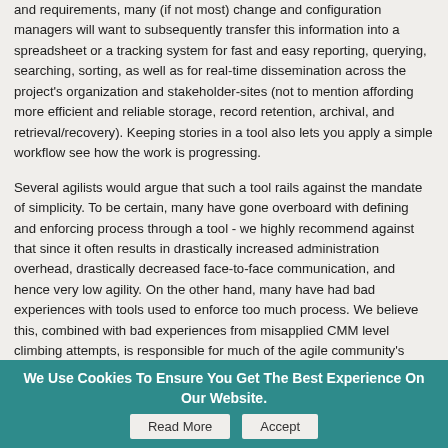and requirements, many (if not most) change and configuration managers will want to subsequently transfer this information into a spreadsheet or a tracking system for fast and easy reporting, querying, searching, sorting, as well as for real-time dissemination across the project's organization and stakeholder-sites (not to mention affording more efficient and reliable storage, record retention, archival, and retrieval/recovery). Keeping stories in a tool also lets you apply a simple workflow see how the work is progressing.
Several agilists would argue that such a tool rails against the mandate of simplicity. To be certain, many have gone overboard with defining and enforcing process through a tool - we highly recommend against that since it often results in drastically increased administration overhead, drastically decreased face-to-face communication, and hence very low agility. On the other hand, many have had bad experiences with tools used to enforce too much process. We believe this, combined with bad experiences from misapplied CMM level climbing attempts, is responsible for much of the agile community's backlash against the use of more sophisticated but useful tools and processes.
The relentless focus on keeping things as simple as possible, and on face-to-face interaction over face-to-machine interaction still provides sound guidelines and important reminders when adopting processes and tools. With the right amount of process using a simple and smart tool,
We Use Cookies To Ensure You Get The Best Experience On Our Website. Read More Accept